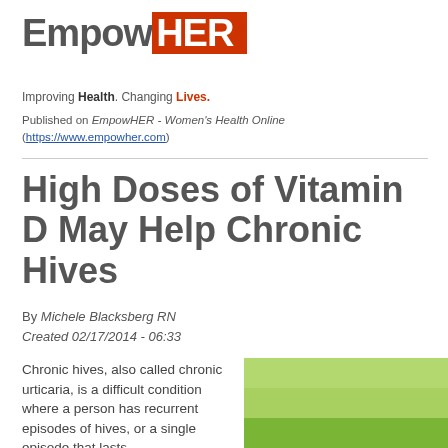[Figure (logo): EmpowHER logo with orange/red HER box and registered trademark symbol]
Improving Health. Changing Lives.
Published on EmpowHER - Women's Health Online (https://www.empowher.com)
High Doses of Vitamin D May Help Chronic Hives
By Michele Blacksberg RN
Created 02/17/2014 - 06:33
Chronic hives, also called chronic urticaria, is a difficult condition where a person has recurrent episodes of hives, or a single episode that lasts
[Figure (photo): Woman with black hair standing in a green field with arms outstretched]